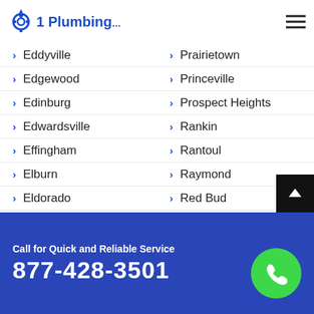1 Plumbing
Eddyville
Prairietown
Edgewood
Princeville
Edinburg
Prospect Heights
Edwardsville
Rankin
Effingham
Rantoul
Elburn
Raymond
Eldorado
Red Bud
Eldred
Reddick
Eleroy
Renault
Elgin
Richmond
Elizabethtown
Ridge Farm
Call for Quick and Reliable Service
877-428-3501